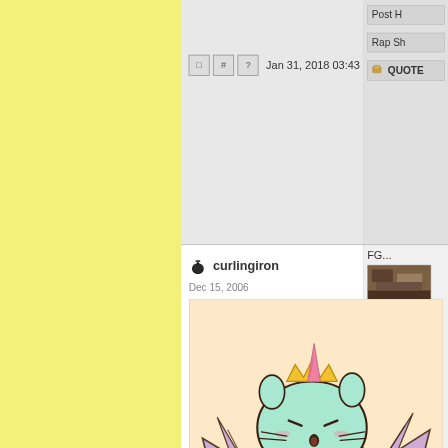Jan 31, 2018 03:43
Post H...
Rap Sh...
QUOTE
curlingiron
Dec 15, 2006
[Figure (illustration): A cartoon dragon-unicorn Pusheen cat character in mint green with purple wings, a pink horn, a crown, and a curled tail. Set on a peach background.]
Come fight terrifying creatures in the THUNDERDOME!
FG...
..GJ ?
Profile
Post H...